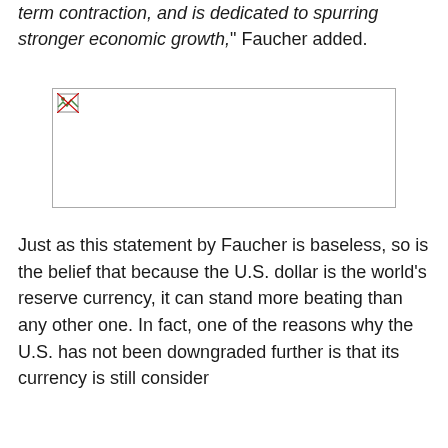term contraction, and is dedicated to spurring stronger economic growth," Faucher added.
[Figure (other): Broken image placeholder with small image icon in top-left corner]
Just as this statement by Faucher is baseless, so is the belief that because the U.S. dollar is the world's reserve currency, it can stand more beating than any other one. In fact, one of the reasons why the U.S. has not been downgraded further is that its currency is still consider